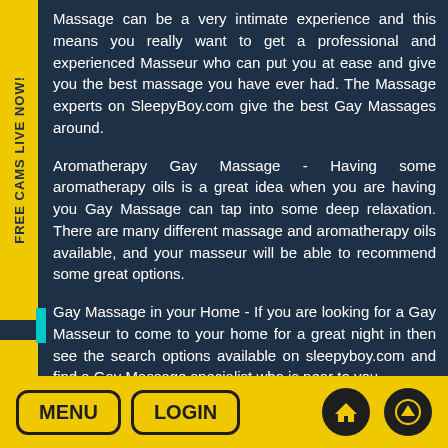FREE CAMS LIVE NOW!
Massage can be a very intimate experience and this means you really want to get a professional and experienced Masseur who can put you at ease and give you the best massage you have ever had. The Massage experts on SleepyBoy.com give the best Gay Massages around.
Aromatherapy Gay Massage - Having some aromatherapy oils is a great idea when you are having you Gay Massage can tap into some deep relaxation. There are many different massage and aromatherapy oils available, and your masseur will be able to recommend some great options.
Gay Massage in your Home - If you are looking for a Gay Masseur to come to your home for a great night in then see the search options available on sleepyboy.com and find a Gay Massage specialist who is near to you.
Chatrooms o
MENU
LOGIN